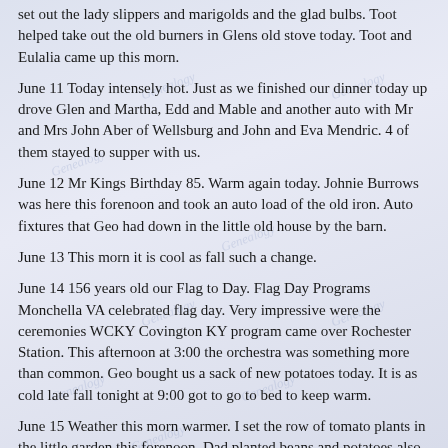set out the lady slippers and marigolds and the glad bulbs. Toot helped take out the old burners in Glens old stove today. Toot and Eulalia came up this morn.
June 11 Today intensely hot. Just as we finished our dinner today up drove Glen and Martha, Edd and Mable and another auto with Mr and Mrs John Aber of Wellsburg and John and Eva Mendric. 4 of them stayed to supper with us.
June 12 Mr Kings Birthday 85. Warm again today. Johnie Burrows was here this forenoon and took an auto load of the old iron. Auto fixtures that Geo had down in the little old house by the barn.
June 13 This morn it is cool as fall such a change.
June 14 156 years old our Flag to Day. Flag Day Programs Monchella VA celebrated flag day. Very impressive were the ceremonies WCKY Covington KY program came over Rochester Station. This afternoon at 3:00 the orchestra was something more than common. Geo bought us a sack of new potatoes today. It is as cold late fall tonight at 9:00 got to go to bed to keep warm.
June 15 Weather this morn warmer. I set the row of tomato plants in the little garden this forenoon. Dad planted beans and potatoes also.